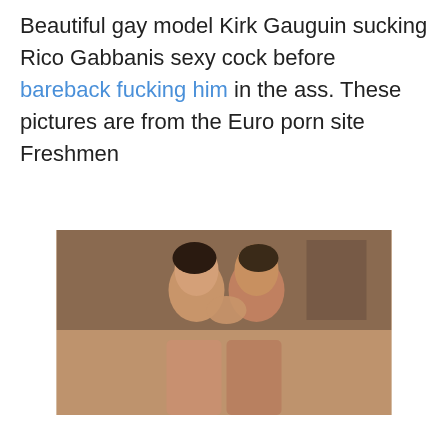Beautiful gay model Kirk Gauguin sucking Rico Gabbanis sexy cock before bareback fucking him in the ass. These pictures are from the Euro porn site Freshmen
[Figure (photo): Two young men kissing closely, shirtless, in an indoor setting]